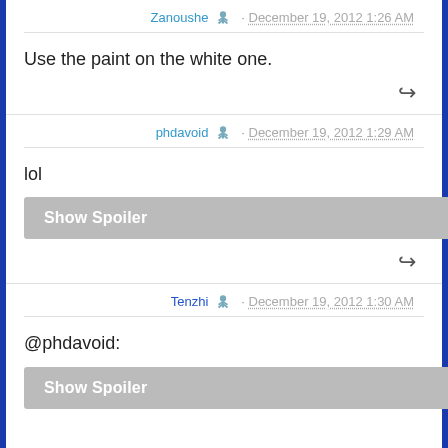Zanoushe · December 19, 2012 1:26 AM
Use the paint on the white one.
phdavoid · December 19, 2012 1:29 AM
lol
Show Spoiler
Tenzhi · December 19, 2012 1:30 AM
@phdavoid:
Show Spoiler